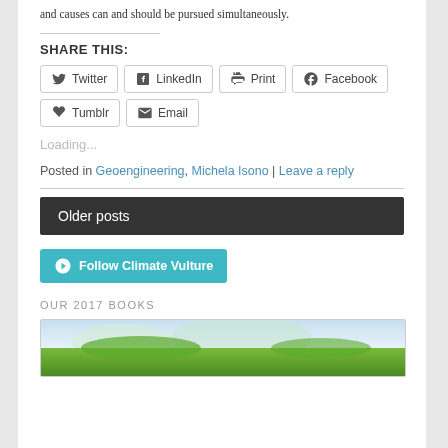and causes can and should be pursued simultaneously.
SHARE THIS:
[Figure (infographic): Social sharing buttons for Twitter, LinkedIn, Print, Facebook, Tumblr, Email]
Loading...
Posted in Geoengineering, Michela Isono | Leave a reply
Older posts
[Figure (infographic): Follow Climate Vulture button]
OUR 2017 BOOKS
[Figure (photo): Book cover image with green landscape]